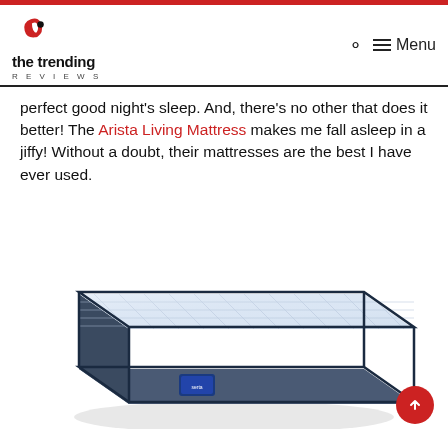the trending REVIEWS
perfect good night’s sleep. And, there’s no other that does it better! The Arista Living Mattress makes me fall asleep in a jiffy! Without a doubt, their mattresses are the best I have ever used.
[Figure (photo): A white and navy blue innerspring mattress with quilted top surface, photographed at an angle on a white background.]